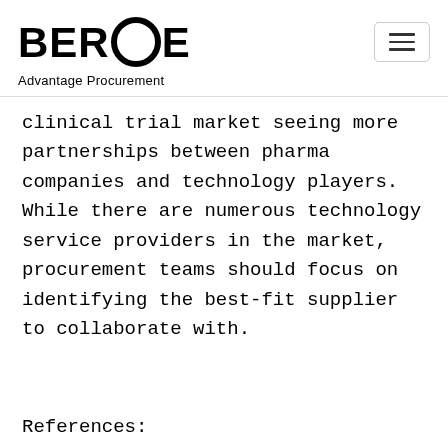BEROE Advantage Procurement
clinical trial market seeing more partnerships between pharma companies and technology players. While there are numerous technology service providers in the market, procurement teams should focus on identifying the best-fit supplier to collaborate with.
References: